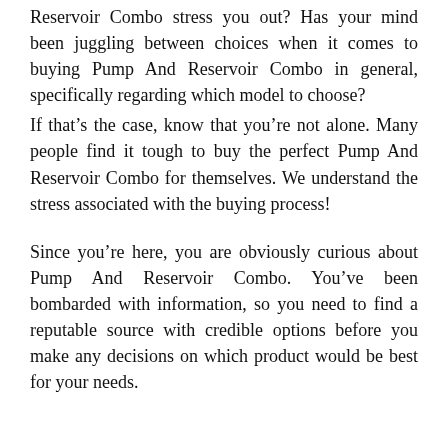Reservoir Combo stress you out? Has your mind been juggling between choices when it comes to buying Pump And Reservoir Combo in general, specifically regarding which model to choose?
If that's the case, know that you're not alone. Many people find it tough to buy the perfect Pump And Reservoir Combo for themselves. We understand the stress associated with the buying process!
Since you're here, you are obviously curious about Pump And Reservoir Combo. You've been bombarded with information, so you need to find a reputable source with credible options before you make any decisions on which product would be best for your needs.